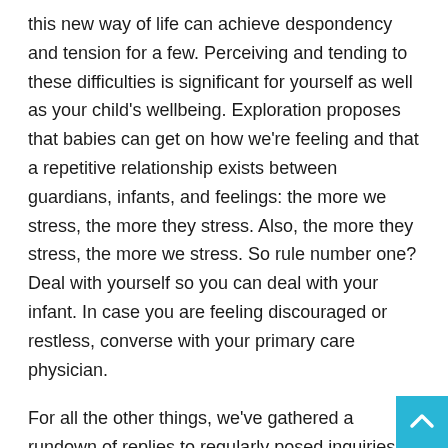this new way of life can achieve despondency and tension for a few. Perceiving and tending to these difficulties is significant for yourself as well as your child's wellbeing. Exploration proposes that babies can get on how we're feeling and that a repetitive relationship exists between guardians, infants, and feelings: the more we stress, the more they stress. Also, the more they stress, the more we stress. So rule number one? Deal with yourself so you can deal with your infant. In case you are feeling discouraged or restless, converse with your primary care physician.
For all the other things, we've gathered a rundown of replies to regularly posed inquiries dependent on driving exploration from associations like the American Academy of Pediatrics (AAP) and the Center for Disease Control and Prevention (CDC).